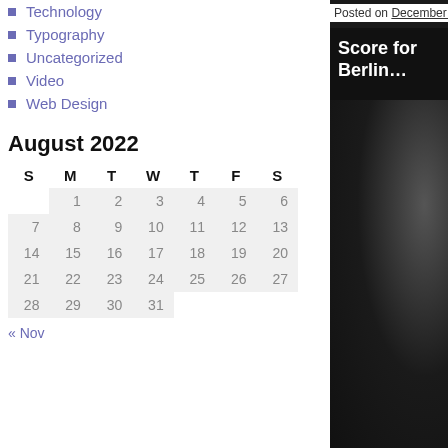Technology
Typography
Uncategorized
Video
Web Design
August 2022
| S | M | T | W | T | F | S |
| --- | --- | --- | --- | --- | --- | --- |
|  | 1 | 2 | 3 | 4 | 5 | 6 |
| 7 | 8 | 9 | 10 | 11 | 12 | 13 |
| 14 | 15 | 16 | 17 | 18 | 19 | 20 |
| 21 | 22 | 23 | 24 | 25 | 26 | 27 |
| 28 | 29 | 30 | 31 |  |  |  |
« Nov
Posted on December 12, 20…
Score for Berlin…
Crystal Kingston
[Figure (photo): Dark background image related to Berlin score, showing a dim figure or scene in near-black tones]